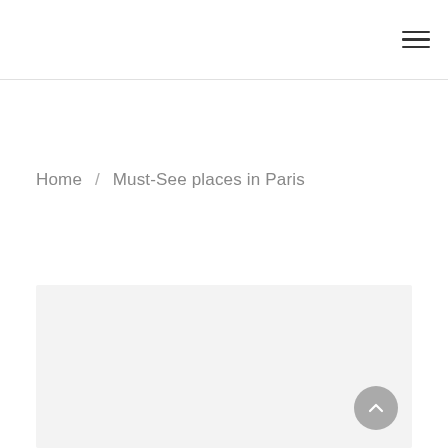Navigation menu icon
Home / Must-See places in Paris
[Figure (other): Large light gray placeholder image area for article content]